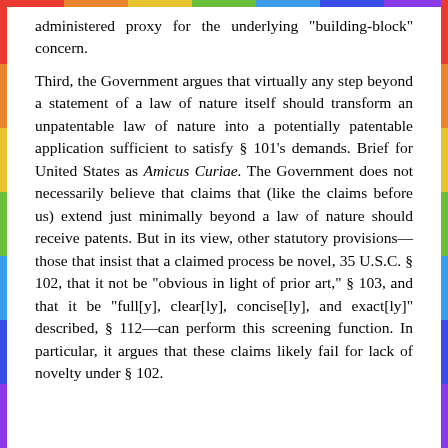administered proxy for the underlying "building-block" concern.

Third, the Government argues that virtually any step beyond a statement of a law of nature itself should transform an unpatentable law of nature into a potentially patentable application sufficient to satisfy § 101's demands. Brief for United States as Amicus Curiae. The Government does not necessarily believe that claims that (like the claims before us) extend just minimally beyond a law of nature should receive patents. But in its view, other statutory provisions—those that insist that a claimed process be novel, 35 U.S.C. § 102, that it not be "obvious in light of prior art," § 103, and that it be "full[y], clear[ly], concise[ly], and exact[ly]" described, § 112—can perform this screening function. In particular, it argues that these claims likely fail for lack of novelty under § 102.